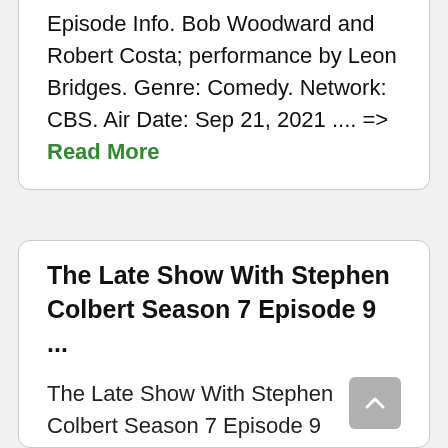Episode Info. Bob Woodward and Robert Costa; performance by Leon Bridges. Genre: Comedy. Network: CBS. Air Date: Sep 21, 2021 .... => Read More
The Late Show With Stephen Colbert Season 7 Episode 9 ...
The Late Show With Stephen Colbert Season 7 Episode 9